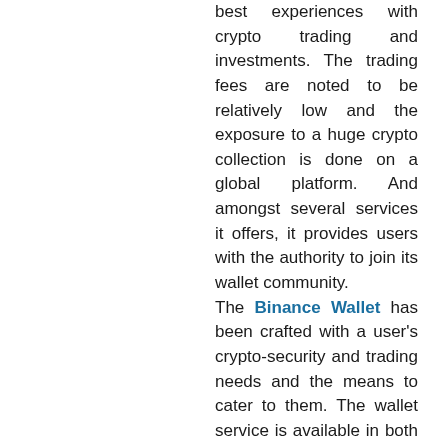best experiences with crypto trading and investments. The trading fees are noted to be relatively low and the exposure to a huge crypto collection is done on a global platform. And amongst several services it offers, it provides users with the authority to join its wallet community.
The Binance Wallet has been crafted with a user's crypto-security and trading needs and the means to cater to them. The wallet service is available in both extension and mobile app versions, which we'll be helping you install. We request you to keep reading so that you can learn the wallet specifics and enjoy.
The Pros and Cons section: Know the wallet service better
Just as you read it, this section has been equipped with the upsides and downfalls of the wallet service (both browser extension and mobile application). Go through the below list and learn about the good as well as the bad part of the